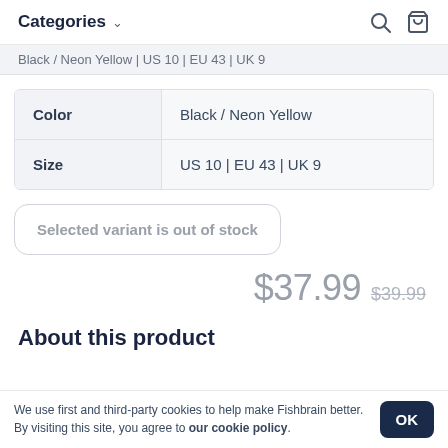Categories
Black / Neon Yellow | US 10 | EU 43 | UK 9
|  |  |
| --- | --- |
| Color | Black / Neon Yellow |
| Size | US 10 | EU 43 | UK 9 |
Selected variant is out of stock
$37.99  $39.99
About this product
We use first and third-party cookies to help make Fishbrain better. By visiting this site, you agree to our cookie policy.